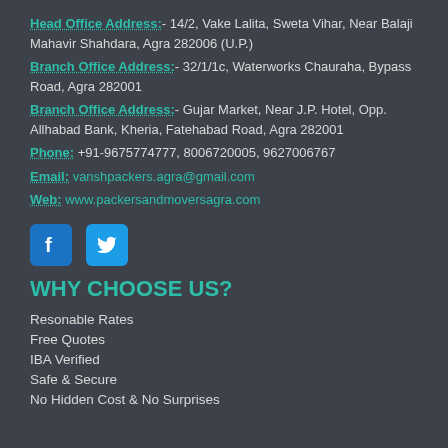Head Office Address:- 14/2, Vake Lalita, Sweta Vihar, Near Balaji Mahavir Shahdara, Agra 282006 (U.P.)
Branch Office Address:- 32/1/1c, Waterworks Chauraha, Bypass Road, Agra 282001
Branch Office Address:- Gujar Market, Near J.P. Hotel, Opp. Allhabad Bank, Kheria, Fatehabad Road, Agra 282001
Phone: +91-9675774777, 8006720005, 9627006767
Email: vanshpackers.agra@gmail.com
Web: www.packersandmoversagra.com
[Figure (logo): Facebook and Twitter social media icons]
WHY CHOOSE US?
Resonable Rates
Free Quotes
IBA Verified
Safe & Secure
No Hidden Cost & No Surprises